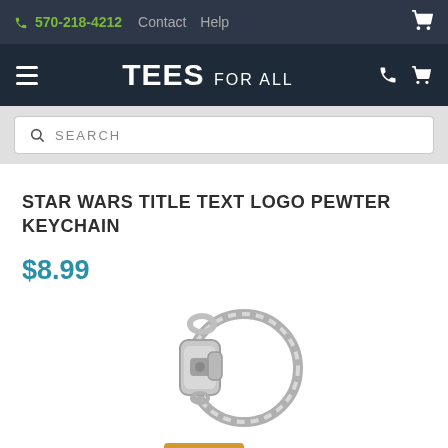570-218-4212  Contact  Help
TEES FOR ALL
SEARCH
STAR WARS TITLE TEXT LOGO PEWTER KEYCHAIN
$8.99
[Figure (photo): Silver metal keychain ring with lobster claw clasp, partially showing a pewter keychain charm below]